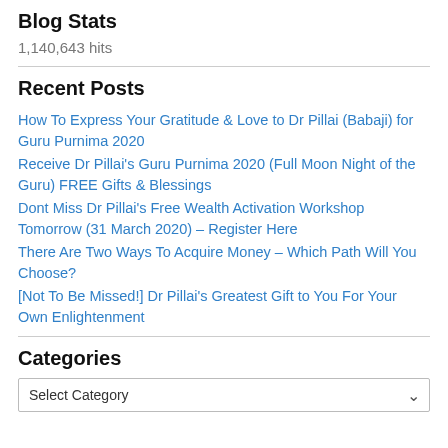Blog Stats
1,140,643 hits
Recent Posts
How To Express Your Gratitude & Love to Dr Pillai (Babaji) for Guru Purnima 2020
Receive Dr Pillai's Guru Purnima 2020 (Full Moon Night of the Guru) FREE Gifts & Blessings
Dont Miss Dr Pillai's Free Wealth Activation Workshop Tomorrow (31 March 2020) – Register Here
There Are Two Ways To Acquire Money – Which Path Will You Choose?
[Not To Be Missed!] Dr Pillai's Greatest Gift to You For Your Own Enlightenment
Categories
Select Category